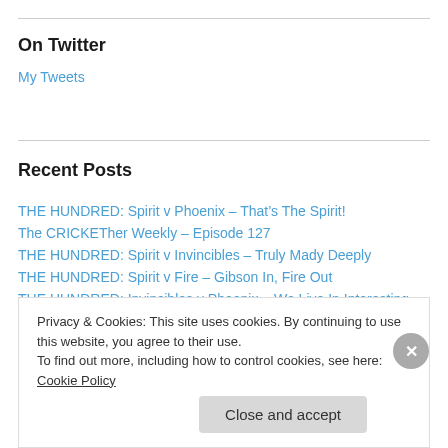On Twitter
My Tweets
Recent Posts
THE HUNDRED: Spirit v Phoenix – That’s The Spirit!
The CRICKETher Weekly – Episode 127
THE HUNDRED: Spirit v Invincibles – Truly Mady Deeply
THE HUNDRED: Spirit v Fire – Gibson In, Fire Out
THE HUNDRED: Invincibles v Phoenix – We Live In Interesting Times
Privacy & Cookies: This site uses cookies. By continuing to use this website, you agree to their use. To find out more, including how to control cookies, see here: Cookie Policy